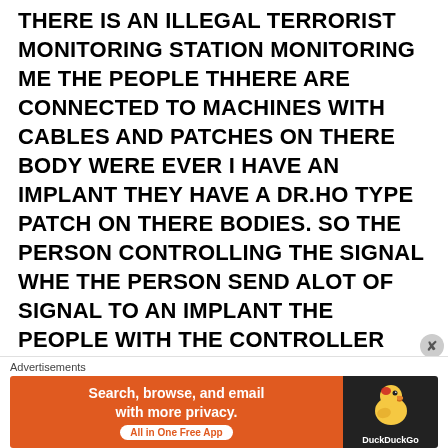THERE IS AN ILLEGAL TERRORIST MONITORING STATION MONITORING ME THE PEOPLE THHERE ARE CONNECTED TO MACHINES WITH CABLES AND PATCHES ON THERE BODY WERE EVER I HAVE AN IMPLANT THEY HAVE A DR.HO TYPE PATCH ON THERE BODIES. SO THE PERSON CONTROLLING THE SIGNAL WHE THE PERSON SEND ALOT OF SIGNAL TO AN IMPLANT THE PEOPLE WITH THE CONTROLLER ATTACHED TO THE MACHINE WITH WIRES AND PATCHES TO THERE BODIES FEELS A NICE DR HO TYPE
Advertisements
[Figure (other): DuckDuckGo advertisement banner with orange left panel reading 'Search, browse, and email with more privacy. All in One Free App' and dark right panel with DuckDuckGo duck logo]